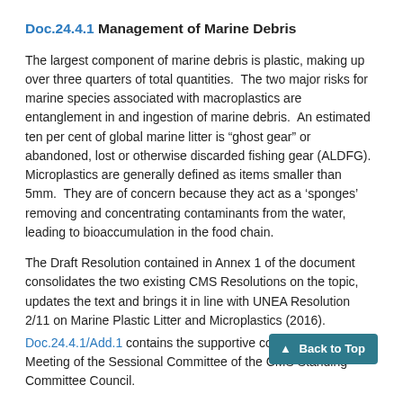Doc.24.4.1 Management of Marine Debris
The largest component of marine debris is plastic, making up over three quarters of total quantities.  The two major risks for marine species associated with macroplastics are entanglement in and ingestion of marine debris.  An estimated ten per cent of global marine litter is “ghost gear” or abandoned, lost or otherwise discarded fishing gear (ALDFG).  Microplastics are generally defined as items smaller than 5mm.  They are of concern because they act as a ‘sponges’ removing and concentrating contaminants from the water, leading to bioaccumulation in the food chain.
The Draft Resolution contained in Annex 1 of the document consolidates the two existing CMS Resolutions on the topic, updates the text and brings it in line with UNEA Resolution 2/11 on Marine Plastic Litter and Microplastics (2016). Doc.24.4.1/Add.1 contains the supportive comments of the 2nd Meeting of the Sessional Committee of the CMS Standing Committee Council.